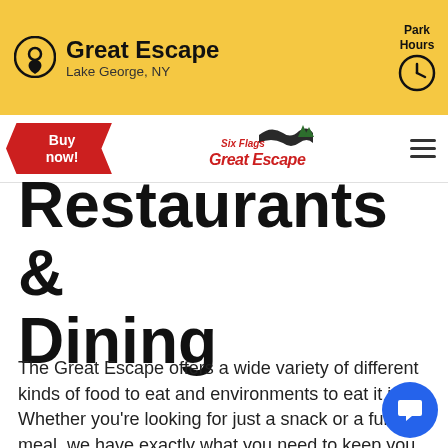Great Escape – Lake George, NY | Park Hours
[Figure (logo): Six Flags Great Escape logo with rollercoaster graphic]
Restaurants & Dining
The Great Escape offers a wide variety of different kinds of food to eat and environments to eat it in. Whether you're looking for just a snack or a full meal, we have exactly what you need to keep you fueled up for the rest of the day.
Dining Pass/Mega Meal Deal Accepted
Has Healthy Dining Options
Season Drink Bottles Accepted
Alcohol Served